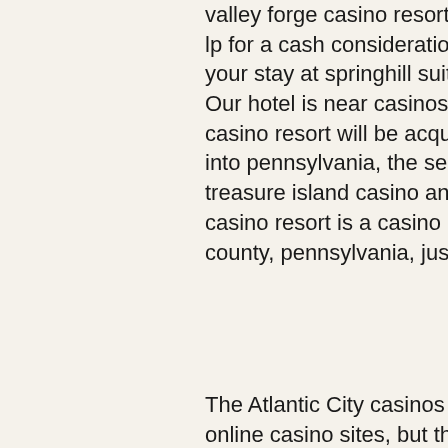valley forge casino resort from valley forge convention center partners lp for a cash consideration of $280. Discover true adventure during your stay at springhill suites philadelphia valley forge/king of prussia. Our hotel is near casinos, shopping and convention. The valley forge casino resort will be acquired by a gaming behemoth eager to expand into pennsylvania, the second-largest gaming state in. Mn , dba treasure island casino and bingo : prosource educational. Valley forge casino resort is a casino in upper merion township, montgomery county, pennsylvania, just outside of philadelphia
The Atlantic City casinos were given the first opportunity to launch online casino sites, but that has now been extended to outside operators as well. This has created a highly competitive industry, which is ultimately a benefit to the players, valley forge casino login. NJ Online Casino Rules...